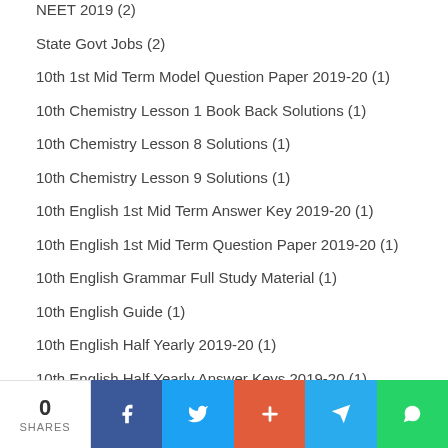NEET 2019 (2)
State Govt Jobs (2)
10th 1st Mid Term Model Question Paper 2019-20 (1)
10th Chemistry Lesson 1 Book Back Solutions (1)
10th Chemistry Lesson 8 Solutions (1)
10th Chemistry Lesson 9 Solutions (1)
10th English 1st Mid Term Answer Key 2019-20 (1)
10th English 1st Mid Term Question Paper 2019-20 (1)
10th English Grammar Full Study Material (1)
10th English Guide (1)
10th English Half Yearly 2019-20 (1)
10th English Half Yearly Answer Keys 2019-20 (1)
0 SHARES | Facebook | Twitter | Plus | Telegram | WhatsApp